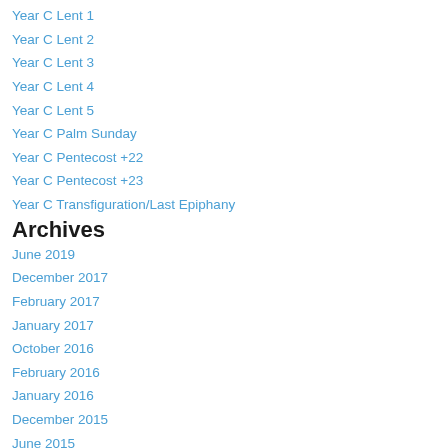Year C Lent 1
Year C Lent 2
Year C Lent 3
Year C Lent 4
Year C Lent 5
Year C Palm Sunday
Year C Pentecost +22
Year C Pentecost +23
Year C Transfiguration/Last Epiphany
Archives
June 2019
December 2017
February 2017
January 2017
October 2016
February 2016
January 2016
December 2015
June 2015